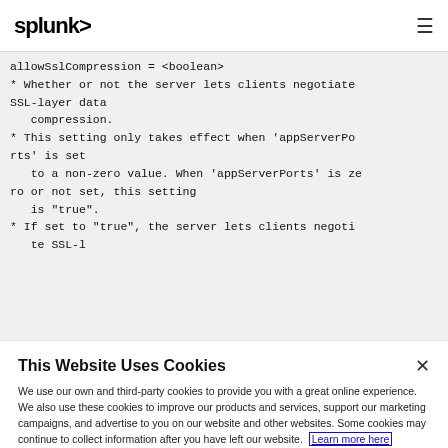splunk> [menu icon]
allowSslCompression = <boolean>
* Whether or not the server lets clients negotiate SSL-layer data
   compression.
* This setting only takes effect when 'appServerPorts' is set
   to a non-zero value. When 'appServerPorts' is zero or not set, this setting
   is "true".
* If set to "true", the server lets clients negoti
   te SSL-l
This Website Uses Cookies
We use our own and third-party cookies to provide you with a great online experience. We also use these cookies to improve our products and services, support our marketing campaigns, and advertise to you on our website and other websites. Some cookies may continue to collect information after you have left our website. Learn more here
Accept Cookies    Cookies Settings ›